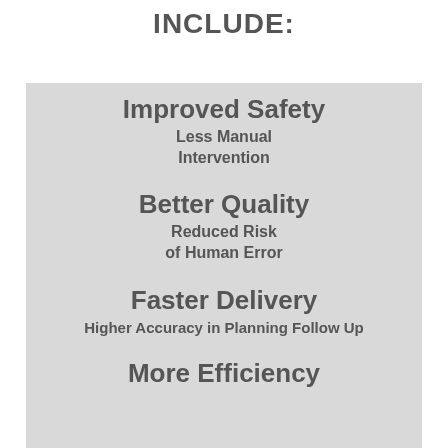INCLUDE:
Improved Safety
Less Manual Intervention
Better Quality
Reduced Risk of Human Error
Faster Delivery
Higher Accuracy in Planning Follow Up
More Efficiency